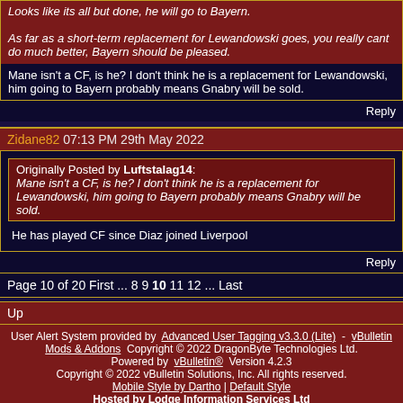Looks like its all but done, he will go to Bayern. As far as a short-term replacement for Lewandowski goes, you really cant do much better, Bayern should be pleased.
Mane isn't a CF, is he? I don't think he is a replacement for Lewandowski, him going to Bayern probably means Gnabry will be sold.
Reply
Zidane82 07:13 PM 29th May 2022
Originally Posted by Luftstalag14: Mane isn't a CF, is he? I don't think he is a replacement for Lewandowski, him going to Bayern probably means Gnabry will be sold.
He has played CF since Diaz joined Liverpool
Reply
Page 10 of 20 First ... 8 9 10 11 12 ... Last
Up
User Alert System provided by Advanced User Tagging v3.3.0 (Lite) - vBulletin Mods & Addons Copyright © 2022 DragonByte Technologies Ltd. Powered by vBulletin® Version 4.2.3 Copyright © 2022 vBulletin Solutions, Inc. All rights reserved. Mobile Style by Dartho | Default Style Hosted by Lodge Information Services Ltd